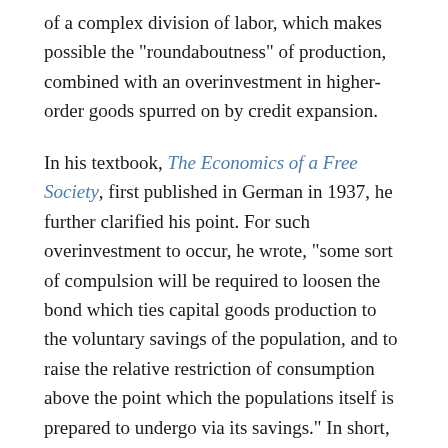of a complex division of labor, which makes possible the "roundaboutness" of production, combined with an overinvestment in higher-order goods spurred on by credit expansion.
In his textbook, The Economics of a Free Society, first published in German in 1937, he further clarified his point. For such overinvestment to occur, he wrote, "some sort of compulsion will be required to loosen the bond which ties capital goods production to the voluntary savings of the population, and to raise the relative restriction of consumption above the point which the populations itself is prepared to undergo via its savings." In short, the boom of the boom-bust trade cycle will not occur on the free market; it is the result of state intervention in credit markets skewing investment decisions.
A developed division of labor and capital overinvestment can also exist in a planned economy, he argued, so socialism would not be immune to economic downturns. In fact, such a system